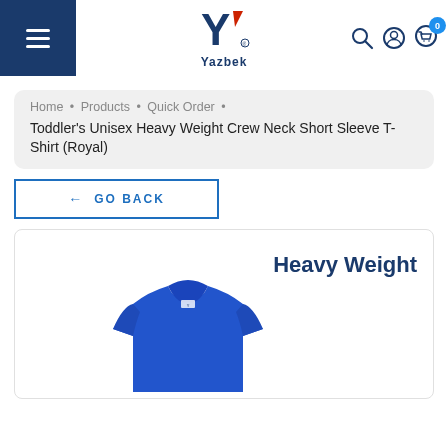[Figure (logo): Yazbek logo with blue and red Y lettermark and Yazbek wordmark]
Home • Products • Quick Order •
Toddler's Unisex Heavy Weight Crew Neck Short Sleeve T-Shirt (Royal)
← GO BACK
Heavy Weight
[Figure (photo): Royal blue toddler t-shirt, short sleeve, crew neck, partially visible at bottom of card]